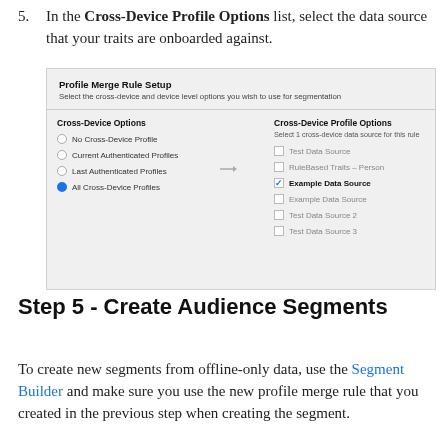5. In the Cross-Device Profile Options list, select the data source that your traits are onboarded against.
[Figure (screenshot): Screenshot of Profile Merge Rule Setup interface showing Cross-Device Options (No Cross-Device Profile, Current Authenticated Profiles, Last Authenticated Profiles, All Cross-Device Profiles selected) and Cross-Device Profile Options list (Test Data Source, RuleBased Traits - Person, Example Data Source checked, Example Data Source, Test Data Source 2, Test Data Source 3)]
Step 5 - Create Audience Segments
To create new segments from offline-only data, use the Segment Builder and make sure you use the new profile merge rule that you created in the previous step when creating the segment.